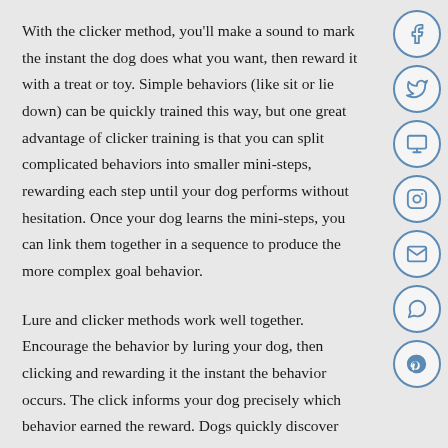With the clicker method, you'll make a sound to mark the instant the dog does what you want, then reward it with a treat or toy. Simple behaviors (like sit or lie down) can be quickly trained this way, but one great advantage of clicker training is that you can split complicated behaviors into smaller mini-steps, rewarding each step until your dog performs without hesitation. Once your dog learns the mini-steps, you can link them together in a sequence to produce the more complex goal behavior.
Lure and clicker methods work well together. Encourage the behavior by luring your dog, then clicking and rewarding it the instant the behavior occurs. The click informs your dog precisely which behavior earned the reward. Dogs quickly discover they can make you click by doing certain behaviors and will start offering those without being asked, hoping for a click and reward.
To prevent dependence on lures, however, phase them out as soon as possible. After your dog follows the lure several times, make the same hand motion, but without holding a treat. (Hold the treat out of
[Figure (infographic): Social media sharing icons sidebar: Facebook, Twitter, Google+, Instagram, Email, WhatsApp, Pinterest — circular icons with blue outlines on grey background]